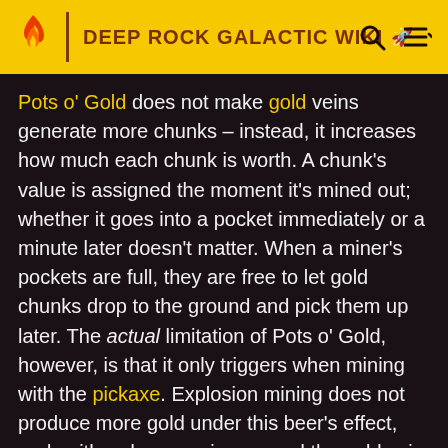DEEP ROCK GALACTIC WIKI
Pots o' Gold does not make gold veins generate more chunks – instead, it increases how much each chunk is worth. A chunk's value is assigned the moment it's mined out; whether it goes into a pocket immediately or a minute later doesn't matter. When a miner's pockets are full, they are free to let gold chunks drop to the ground and pick them up later. The actual limitation of Pots o' Gold, however, is that it only triggers when mining with the pickaxe. Explosion mining does not produce more gold under this beer's effect, and neither does carving around the gold vein to let it instantly collapse to the ground in chunks.